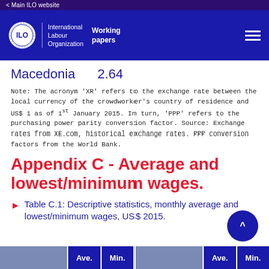< Main ILO website
[Figure (logo): ILO International Labour Organization Working papers logo with white ILO emblem on blue background and hamburger menu icon]
Macedonia   2.64
Note: The acronym 'XR' refers to the exchange rate between the local currency of the crowdworker's country of residence and US$ 1 as of 1st January 2015. In turn, 'PPP' refers to the purchasing power parity conversion factor. Source: Exchange rates from XE.com, historical exchange rates. PPP conversion factors from the World Bank.
Appendix C - Average and lowest/minimum wages.
Table C.1: Descriptive statistics, monthly average and lowest/minimum wages, US$ 2015.
|  | Ave. | Min. |  | Ave. | Min. |
| --- | --- | --- | --- | --- | --- |